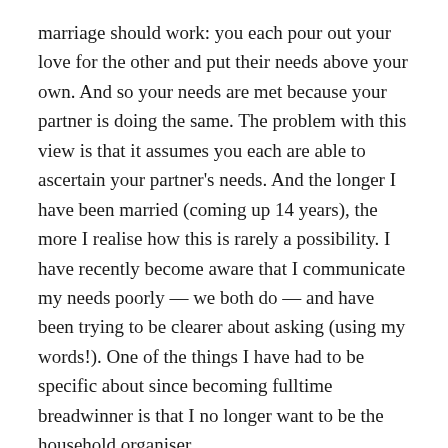marriage should work: you each pour out your love for the other and put their needs above your own. And so your needs are met because your partner is doing the same. The problem with this view is that it assumes you each are able to ascertain your partner's needs. And the longer I have been married (coming up 14 years), the more I realise how this is rarely a possibility. I have recently become aware that I communicate my needs poorly — we both do — and have been trying to be clearer about asking (using my words!). One of the things I have had to be specific about since becoming fulltime breadwinner is that I no longer want to be the household organiser.
Because, back to the pinnacle of feminist achievement idea, being the fulltime breadwinner makes it really hard to be the household organiser